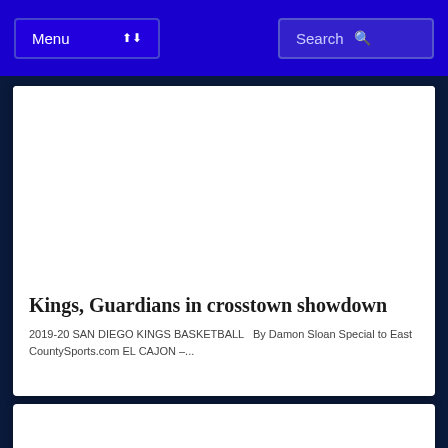Menu | Search
[Figure (other): White card image area (blank/advertisement space)]
Kings, Guardians in crosstown showdown
2019-20 SAN DIEGO KINGS BASKETBALL   By Damon Sloan Special to East CountySports.com EL CAJON –...
[Figure (other): Second white card partial view at bottom]